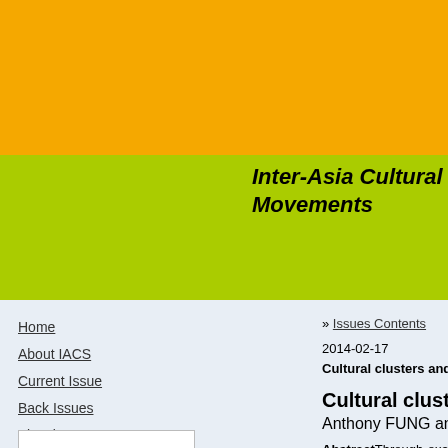Inter-Asia Cultural Studies: Movements
Home
About IACS
Current Issue
Back Issues
Visual essays
IACS Project
Events
Links
Archives
» Issues Contents
2014-02-17
Cultural clusters and cultural industries i
Cultural clusters and cultural i
Anthony FUNG and John ERNI
AbstractThrough examining the cultural districts in China, nam attempts to identify the charact existing models of culture cluste clusters are seen as a united state so-called cultural industries, software, science and technolo